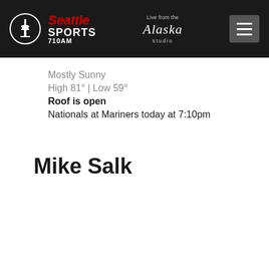Seattle Sports 710AM — Live from the Alaska studio
Mostly Sunny
High 81° | Low 59°
Roof is open
Nationals at Mariners today at 7:10pm
Mike Salk